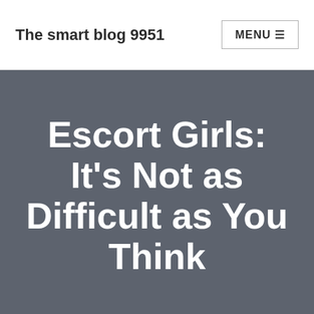The smart blog 9951
Escort Girls: It's Not as Difficult as You Think